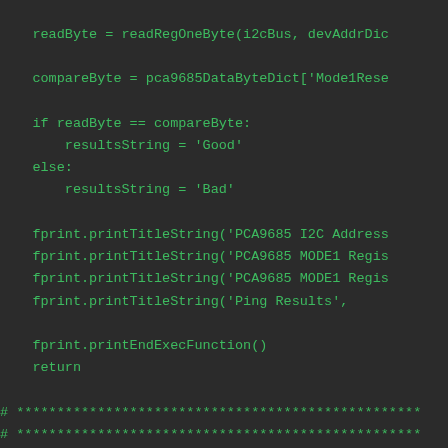[Figure (screenshot): Python source code snippet on dark background showing variable assignments, if/else block, fprint function calls, and comment dividers. Code is in green monospace font on dark gray background.]